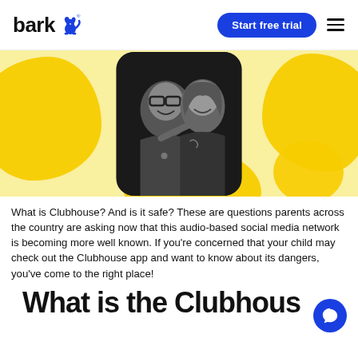bark [logo] | Start free trial | [menu]
[Figure (photo): Hero banner with yellow/cream background featuring abstract yellow blob shapes, and a black-and-white photo of a man with glasses and a woman smiling together, displayed in a rounded rectangle frame.]
What is Clubhouse? And is it safe? These are questions parents across the country are asking now that this audio-based social media network is becoming more well known. If you're concerned that your child may check out the Clubhouse app and want to know about its dangers, you've come to the right place!
What is the Clubhouse